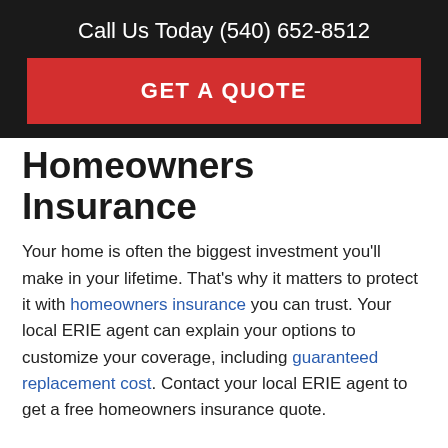Call Us Today (540) 652-8512
GET A QUOTE
Homeowners Insurance
Your home is often the biggest investment you'll make in your lifetime. That's why it matters to protect it with homeowners insurance you can trust. Your local ERIE agent can explain your options to customize your coverage, including guaranteed replacement cost. Contact your local ERIE agent to get a free homeowners insurance quote.